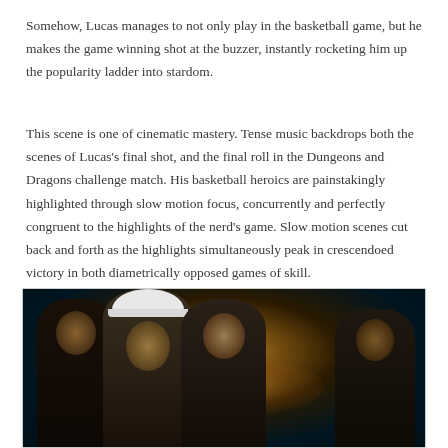Somehow, Lucas manages to not only play in the basketball game, but he makes the game winning shot at the buzzer, instantly rocketing him up the popularity ladder into stardom.
This scene is one of cinematic mastery. Tense music backdrops both the scenes of Lucas's final shot, and the final roll in the Dungeons and Dragons challenge match. His basketball heroics are painstakingly highlighted through slow motion focus, concurrently and perfectly congruent to the highlights of the nerd's game. Slow motion scenes cut back and forth as the highlights simultaneously peak in crescendoed victory in both diametrically opposed games of skill.
[Figure (photo): A group of four teenagers photographed in dim, warm lighting. From left to right: a dark-skinned teen in a Hellfire Club tank top, a teen wearing a white cap, a teen with medium-length hair, and another teen partially visible on the right. The scene appears to be from the TV show Stranger Things.]